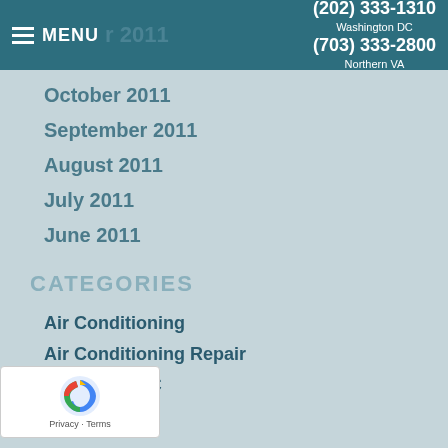MENU | (202) 333-1310 Washington DC | (703) 333-2800 Northern VA
October 2011
September 2011
August 2011
July 2011
June 2011
CATEGORIES
Air Conditioning
Air Conditioning Repair
Commercial HVAC
Community
[Figure (screenshot): reCAPTCHA widget with logo and Privacy/Terms links]